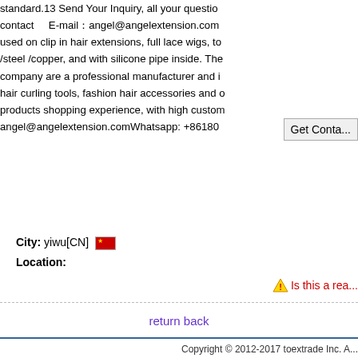standard.13 Send Your Inquiry, all your question contact   E-mail：angel@angelextension.com used on clip in hair extensions, full lace wigs, to /steel /copper, and with silicone pipe inside. The company are a professional manufacturer and i hair curling tools, fashion hair accessories and products shopping experience, with high custom angel@angelextension.comWhatsapp: +861806
Get Conta...
City: yiwu[CN] 🚩
Location:
⚠ Is this a rea...
return back
Copyright © 2012-2017 toextrade Inc. A...